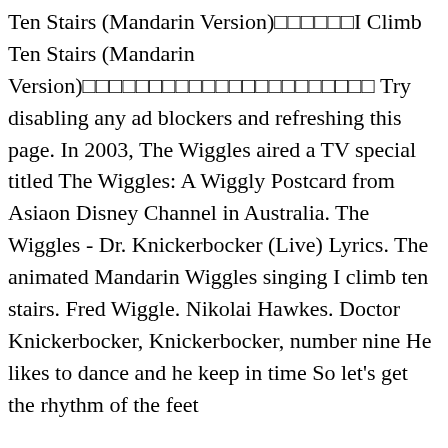Ten Stairs (Mandarin Version)□□□□□□I Climb Ten Stairs (Mandarin Version)□□□□□□□□□□□□□□□□□□□□□□ Try disabling any ad blockers and refreshing this page. In 2003, The Wiggles aired a TV special titled The Wiggles: A Wiggly Postcard from Asiaon Disney Channel in Australia. The Wiggles - Dr. Knickerbocker (Live) Lyrics. The animated Mandarin Wiggles singing I climb ten stairs. Fred Wiggle. Nikolai Hawkes. Doctor Knickerbocker, Knickerbocker, number nine He likes to dance and he keep in time So let's get the rhythm of the feet